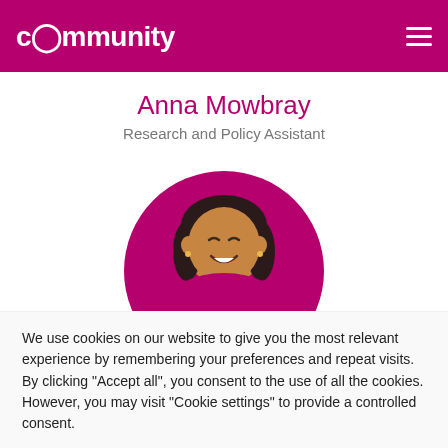community
Anna Mowbray
Research and Policy Assistant
[Figure (illustration): Illustrated avatar of a woman with dark hair on a magenta circular background]
We use cookies on our website to give you the most relevant experience by remembering your preferences and repeat visits. By clicking "Accept all", you consent to the use of all the cookies. However, you may visit "Cookie settings" to provide a controlled consent.